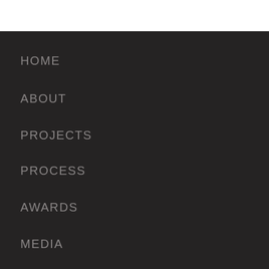HOME
ABOUT
PROJECTS
PROCESS
AWARDS
MEDIA